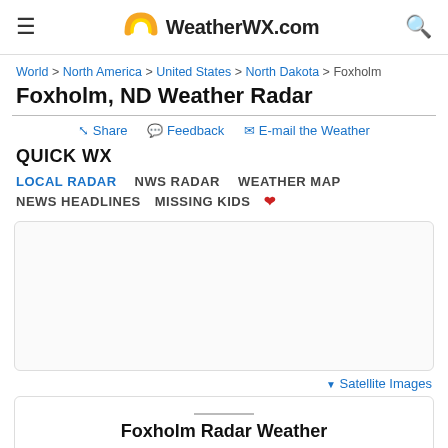WeatherWX.com
World > North America > United States > North Dakota > Foxholm
Foxholm, ND Weather Radar
Share  Feedback  E-mail the Weather
QUICK WX
LOCAL RADAR   NWS RADAR   WEATHER MAP
NEWS HEADLINES   MISSING KIDS
[Figure (other): Advertisement box]
▼ Satellite Images
Foxholm Radar Weather